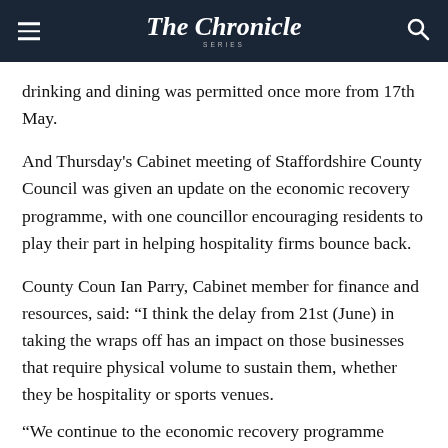The Chronicle Series
drinking and dining was permitted once more from 17th May.
And Thursday's Cabinet meeting of Staffordshire County Council was given an update on the economic recovery programme, with one councillor encouraging residents to play their part in helping hospitality firms bounce back.
County Coun Ian Parry, Cabinet member for finance and resources, said: "I think the delay from 21st (June) in taking the wraps off has an impact on those businesses that require physical volume to sustain them, whether they be hospitality or sports venues.
"We continue to...